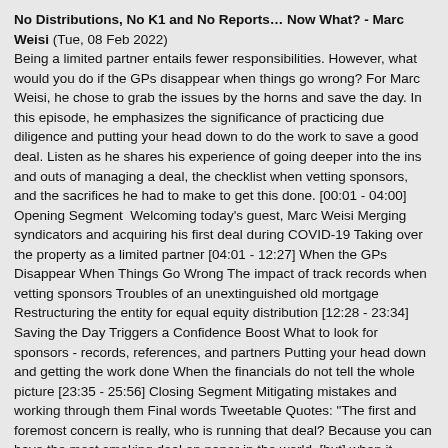No Distributions, No K1 and No Reports… Now What? - Marc Weisi (Tue, 08 Feb 2022) Being a limited partner entails fewer responsibilities. However, what would you do if the GPs disappear when things go wrong? For Marc Weisi, he chose to grab the issues by the horns and save the day. In this episode, he emphasizes the significance of practicing due diligence and putting your head down to do the work to save a good deal. Listen as he shares his experience of going deeper into the ins and outs of managing a deal, the checklist when vetting sponsors, and the sacrifices he had to make to get this done. [00:01 - 04:00] Opening Segment  Welcoming today's guest, Marc Weisi Merging syndicators and acquiring his first deal during COVID-19 Taking over the property as a limited partner [04:01 - 12:27] When the GPs Disappear When Things Go Wrong The impact of track records when vetting sponsors Troubles of an unextinguished old mortgage Restructuring the entity for equal equity distribution [12:28 - 23:34] Saving the Day Triggers a Confidence Boost What to look for sponsors - records, references, and partners Putting your head down and getting the work done When the financials do not tell the whole picture [23:35 - 25:56] Closing Segment Mitigating mistakes and working through them Final words Tweetable Quotes: "The first and foremost concern is really, who is running that deal? Because you can have the most smoking deal on paper in the world, [but] when it comes down to it, it's about the execution. Do the people that are running the particular deal, you know, have your best interests in mind, and do they have the experience to allow them to achieve what they're saying they can achieve? " -